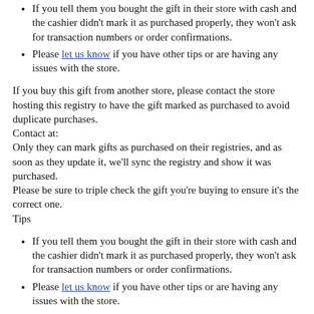If you tell them you bought the gift in their store with cash and the cashier didn't mark it as purchased properly, they won't ask for transaction numbers or order confirmations.
Please let us know if you have other tips or are having any issues with the store.
If you buy this gift from another store, please contact the store hosting this registry to have the gift marked as purchased to avoid duplicate purchases.
Contact at:
Only they can mark gifts as purchased on their registries, and as soon as they update it, we'll sync the registry and show it was purchased.
Please be sure to triple check the gift you're buying to ensure it's the correct one.
Tips
If you tell them you bought the gift in their store with cash and the cashier didn't mark it as purchased properly, they won't ask for transaction numbers or order confirmations.
Please let us know if you have other tips or are having any issues with the store.
Hannah Horejsi & Tucker Bader's Wedding Registry Featuring registries from: Target
Follow us on [Facebook] [Tumblr]